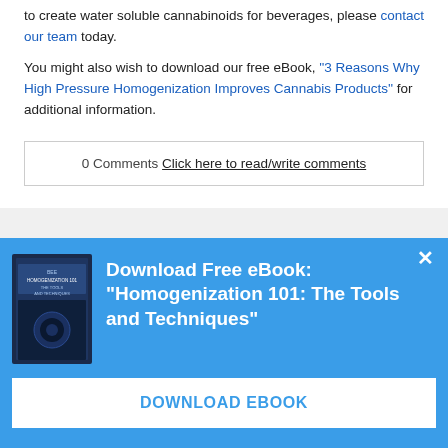to create water soluble cannabinoids for beverages, please contact our team today.
You might also wish to download our free eBook, ''3 Reasons Why High Pressure Homogenization Improves Cannabis Products'' for additional information.
0 Comments  Click here to read/write comments
[Figure (other): Blue popup banner with book cover image and text: Download Free eBook: "Homogenization 101: The Tools and Techniques" with a DOWNLOAD EBOOK button]